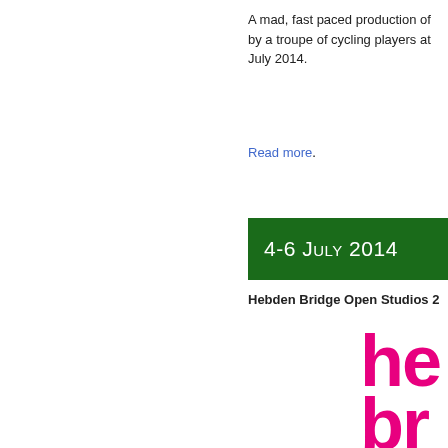A mad, fast paced production of by a troupe of cycling players at July 2014.
Read more.
4-6 July 2014
Hebden Bridge Open Studios 2
[Figure (logo): Partial pink/magenta logo text showing 'he br op st 2' in large bold rounded letters, cropped at the right edge of the page]